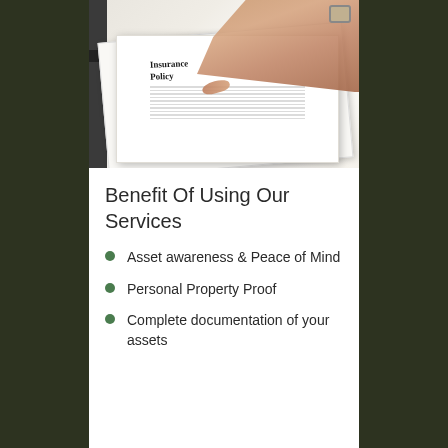[Figure (photo): A hand pointing at an Insurance Policy document on a desk, with a clipboard and stacked papers visible in the background.]
Benefit Of Using Our Services
Asset awareness & Peace of Mind
Personal Property Proof
Complete documentation of your assets